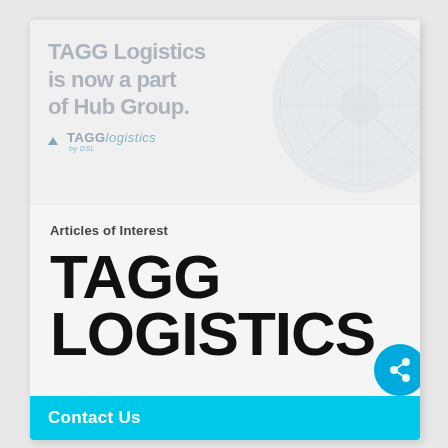[Figure (screenshot): Banner image showing TAGG Logistics is now a part of Hub Group text with circular turbine/fan graphic on the right, and the TAGG Logistics logo below]
Articles of Interest
TAGG LOGISTICS
Contact Us